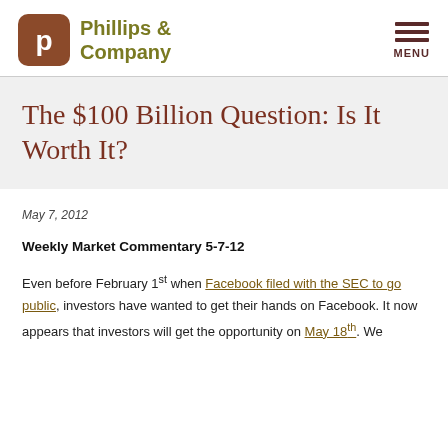Phillips & Company | MENU
The $100 Billion Question: Is It Worth It?
May 7, 2012
Weekly Market Commentary 5-7-12
Even before February 1st when Facebook filed with the SEC to go public, investors have wanted to get their hands on Facebook. It now appears that investors will get the opportunity on May 18th. We